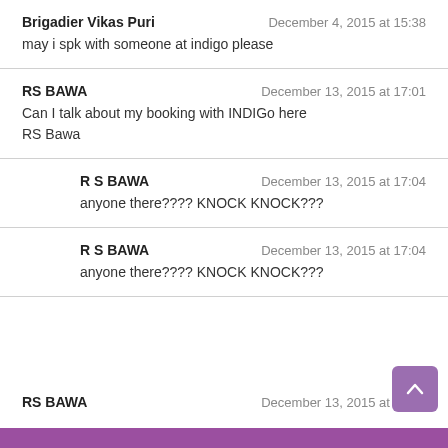Brigadier Vikas Puri — December 4, 2015 at 15:38 — may i spk with someone at indigo please
RS BAWA — December 13, 2015 at 17:01 — Can I talk about my booking with INDIGo here RS Bawa
R S BAWA — December 13, 2015 at 17:04 — anyone there???? KNOCK KNOCK???
R S BAWA — December 13, 2015 at 17:04 — anyone there???? KNOCK KNOCK???
RS BAWA — December 13, 2015 at 17:01